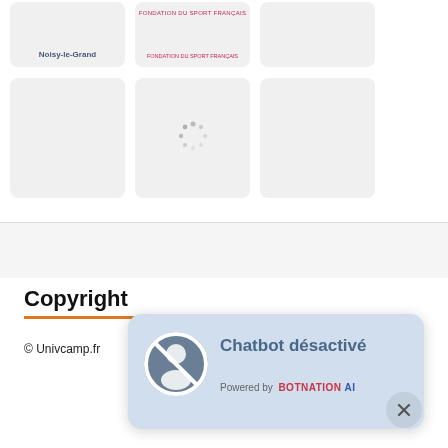[Figure (screenshot): Grid of image cards: top row has 3 cards (third partially visible), bottom row has 3 cards (middle showing loading spinner). First card shows 'Noisy-le-Grand' label.]
Copyright
© Univcamp.fr
[Figure (screenshot): Chatbot popup overlay reading 'Chatbot désactivé' with bot icon and 'Powered by BOTNATION AI' text, with close X button]